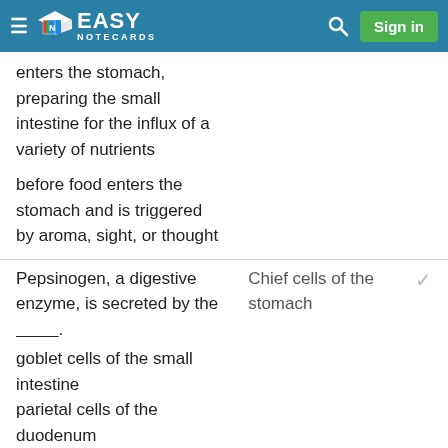Easy Notecards
enters the stomach, preparing the small intestine for the influx of a variety of nutrients
before food enters the stomach and is triggered by aroma, sight, or thought
Pepsinogen, a digestive enzyme, is secreted by the _________.
Chief cells of the stomach
goblet cells of the small intestine
parietal cells of the duodenum
Brunner's glands
chief cells of the stomach